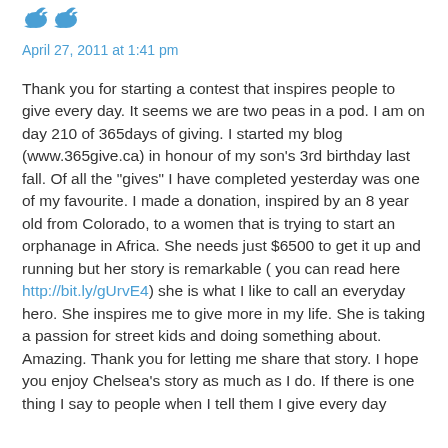[Figure (logo): Two Twitter bird icons in blue]
April 27, 2011 at 1:41 pm
Thank you for starting a contest that inspires people to give every day. It seems we are two peas in a pod. I am on day 210 of 365days of giving. I started my blog (www.365give.ca) in honour of my son's 3rd birthday last fall. Of all the "gives" I have completed yesterday was one of my favourite. I made a donation, inspired by an 8 year old from Colorado, to a women that is trying to start an orphanage in Africa. She needs just $6500 to get it up and running but her story is remarkable ( you can read here http://bit.ly/gUrvE4) she is what I like to call an everyday hero. She inspires me to give more in my life. She is taking a passion for street kids and doing something about. Amazing. Thank you for letting me share that story. I hope you enjoy Chelsea's story as much as I do. If there is one thing I say to people when I tell them I give every day